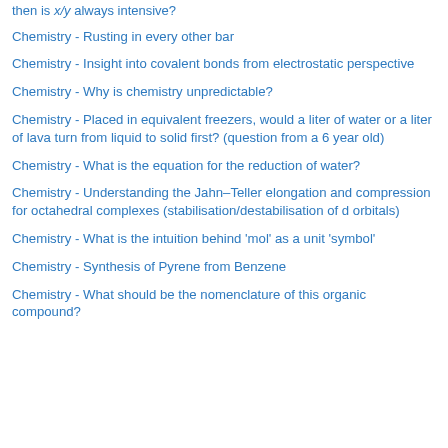then is x/y always intensive?
Chemistry - Rusting in every other bar
Chemistry - Insight into covalent bonds from electrostatic perspective
Chemistry - Why is chemistry unpredictable?
Chemistry - Placed in equivalent freezers, would a liter of water or a liter of lava turn from liquid to solid first? (question from a 6 year old)
Chemistry - What is the equation for the reduction of water?
Chemistry - Understanding the Jahn–Teller elongation and compression for octahedral complexes (stabilisation/destabilisation of d orbitals)
Chemistry - What is the intuition behind 'mol' as a unit 'symbol'
Chemistry - Synthesis of Pyrene from Benzene
Chemistry - What should be the nomenclature of this organic compound?